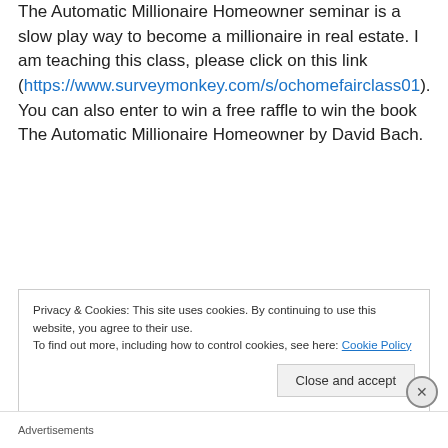The Automatic Millionaire Homeowner seminar is a slow play way to become a millionaire in real estate. I am teaching this class, please click on this link (https://www.surveymonkey.com/s/ochomefairclass01). You can also enter to win a free raffle to win the book The Automatic Millionaire Homeowner by David Bach.
Privacy & Cookies: This site uses cookies. By continuing to use this website, you agree to their use.
To find out more, including how to control cookies, see here: Cookie Policy
Close and accept
Advertisements